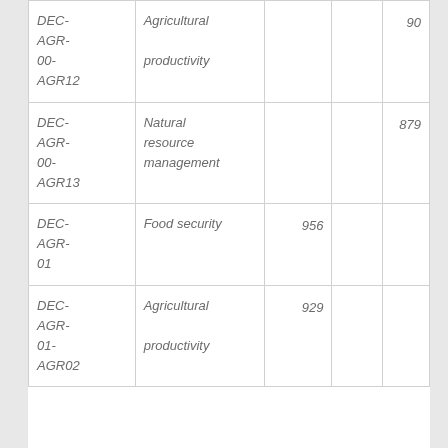| DEC-AGR-00-AGR12 | Agricultural productivity |  |  | 90 |
| DEC-AGR-00-AGR13 | Natural resource management |  |  | 879 |
| DEC-AGR-01 | Food security | 956 |  |  |
| DEC-AGR-01-AGR02 | Agricultural productivity | 929 |  |  |